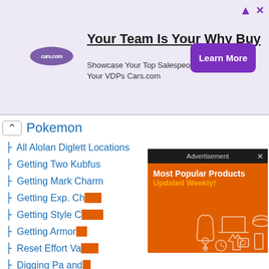[Figure (screenshot): Cars.com advertisement banner: 'Your Team Is Your Why Buy' headline with subtext 'Showcase Your Top Salespeople On Your VDPs Cars.com' and 'Learn More' purple button]
Pokemon
All Alolan Diglett Locations
Getting Two Kubfus
Getting Mark Charm
Getting Exp. Ch...
Getting Style C...
Getting Armor...
Reset Effort Va...
Digging Pa and...
Bike Trails
[Figure (screenshot): Advertisement popup overlay with orange background showing 'Most Popular Products' and 'Updated Weekly!' text with product icons]
[Figure (screenshot): Video player overlay showing two game characters with a play button and PLAYS branding, plus a close (X) button]